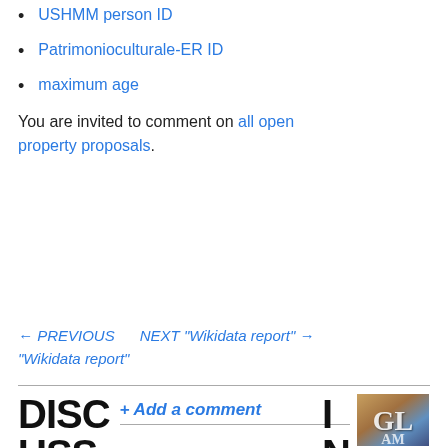USHMM person ID
Patrimonioculturale-ER ID
maximum age
You are invited to comment on all open property proposals.
← PREVIOUS   NEXT "Wikidata report" →  "Wikidata report"
DISCUSS
+ Add a comment
TO POST COMMENTS, ADD THE PAGE TO YOUR WATCHLIST. IF YOUR COMMENT HAS NOT APPEARED HERE, YOU CAN TRY
IN JULY HIS